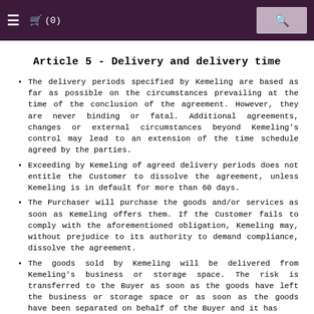≡  🛒 (0)   🔍
Article 5 - Delivery and delivery time
The delivery periods specified by Kemeling are based as far as possible on the circumstances prevailing at the time of the conclusion of the agreement. However, they are never binding or fatal. Additional agreements, changes or external circumstances beyond Kemeling's control may lead to an extension of the time schedule agreed by the parties.
Exceeding by Kemeling of agreed delivery periods does not entitle the Customer to dissolve the agreement, unless Kemeling is in default for more than 60 days.
The Purchaser will purchase the goods and/or services as soon as Kemeling offers them. If the Customer fails to comply with the aforementioned obligation, Kemeling may, without prejudice to its authority to demand compliance, dissolve the agreement.
The goods sold by Kemeling will be delivered from Kemeling's business or storage space. The risk is transferred to the Buyer as soon as the goods have left the business or storage space or as soon as the goods have been separated on behalf of the Buyer and it has